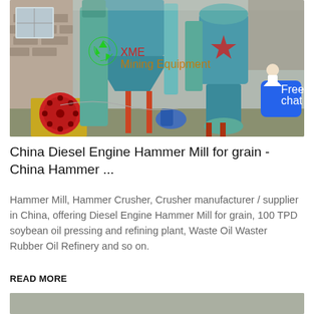[Figure (photo): Industrial machinery photo showing mining/milling equipment - large blue machines, hammer mill components, with XME Mining Equipment logo overlaid in green and red text, and a 'Free chat' blue button overlay with a customer service representative icon]
China Diesel Engine Hammer Mill for grain - China Hammer ...
Hammer Mill, Hammer Crusher, Crusher manufacturer / supplier in China, offering Diesel Engine Hammer Mill for grain, 100 TPD soybean oil pressing and refining plant, Waste Oil Waster Rubber Oil Refinery and so on.
READ MORE
[Figure (photo): Partial view of another industrial machinery photo at bottom of page]